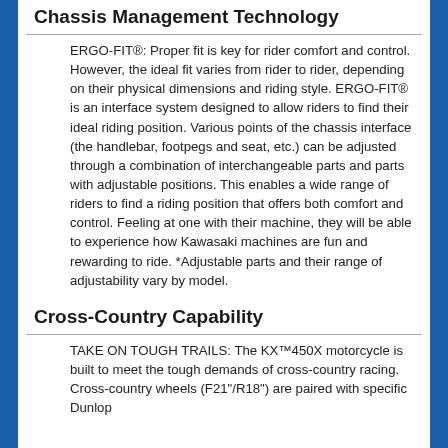Chassis Management Technology
ERGO-FIT®: Proper fit is key for rider comfort and control. However, the ideal fit varies from rider to rider, depending on their physical dimensions and riding style. ERGO-FIT® is an interface system designed to allow riders to find their ideal riding position. Various points of the chassis interface (the handlebar, footpegs and seat, etc.) can be adjusted through a combination of interchangeable parts and parts with adjustable positions. This enables a wide range of riders to find a riding position that offers both comfort and control. Feeling at one with their machine, they will be able to experience how Kawasaki machines are fun and rewarding to ride. *Adjustable parts and their range of adjustability vary by model.
Cross-Country Capability
TAKE ON TOUGH TRAILS: The KX™450X motorcycle is built to meet the tough demands of cross-country racing. Cross-country wheels (F21"/R18") are paired with specific Dunlop